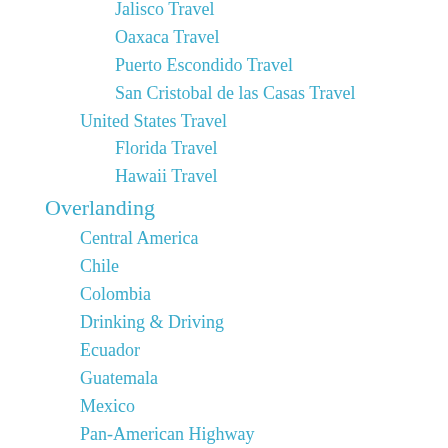Jalisco Travel
Oaxaca Travel
Puerto Escondido Travel
San Cristobal de las Casas Travel
United States Travel
Florida Travel
Hawaii Travel
Overlanding
Central America
Chile
Colombia
Drinking & Driving
Ecuador
Guatemala
Mexico
Pan-American Highway
South America Travel
Colombia Travel